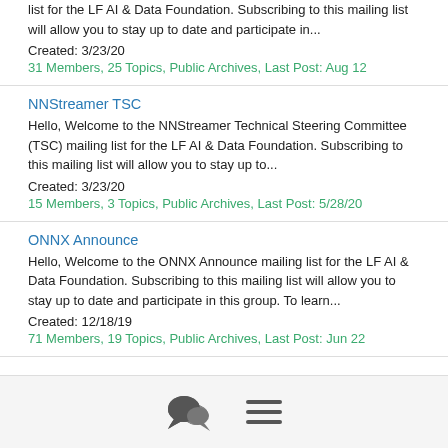list for the LF AI & Data Foundation. Subscribing to this mailing list will allow you to stay up to date and participate in...
Created: 3/23/20
31 Members, 25 Topics, Public Archives, Last Post: Aug 12
NNStreamer TSC
Hello, Welcome to the NNStreamer Technical Steering Committee (TSC) mailing list for the LF AI & Data Foundation. Subscribing to this mailing list will allow you to stay up to...
Created: 3/23/20
15 Members, 3 Topics, Public Archives, Last Post: 5/28/20
ONNX Announce
Hello, Welcome to the ONNX Announce mailing list for the LF AI & Data Foundation. Subscribing to this mailing list will allow you to stay up to date and participate in this group. To learn...
Created: 12/18/19
71 Members, 19 Topics, Public Archives, Last Post: Jun 22